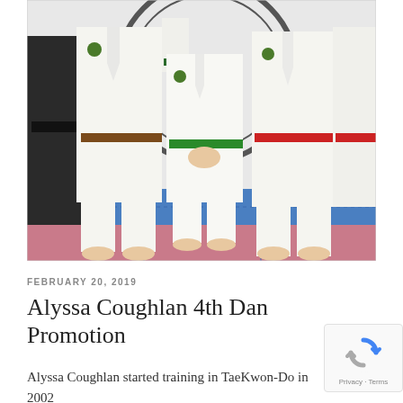[Figure (photo): Group photo of four people in white taekwondo uniforms (doboks) with colored belts — brown, green, and red — standing on a blue and pink martial arts mat in front of a wall with a circular taekwondo logo.]
FEBRUARY 20, 2019
Alyssa Coughlan 4th Dan Promotion
Alyssa Coughlan started training in TaeKwon-Do in 2002